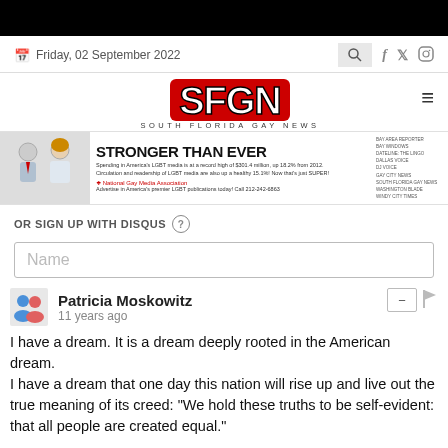Friday, 02 September 2022
[Figure (logo): SFGN South Florida Gay News logo]
[Figure (infographic): STRONGER THAN EVER - National Gay Media Association advertisement banner]
OR SIGN UP WITH DISQUS
Name
Patricia Moskowitz
11 years ago
I have a dream. It is a dream deeply rooted in the American dream.
I have a dream that one day this nation will rise up and live out the true meaning of its creed: "We hold these truths to be self-evident: that all people are created equal."